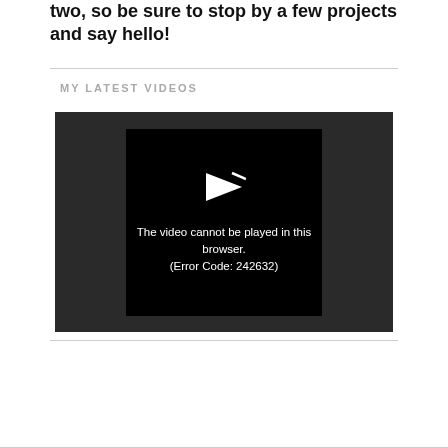two, so be sure to stop by a few projects and say hello!
MY LATEST VIDEOS
[Figure (screenshot): Video player showing error message: The video cannot be played in this browser. (Error Code: 242632)]